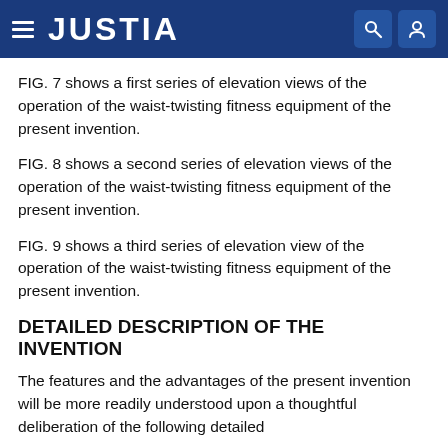JUSTIA
FIG. 7 shows a first series of elevation views of the operation of the waist-twisting fitness equipment of the present invention.
FIG. 8 shows a second series of elevation views of the operation of the waist-twisting fitness equipment of the present invention.
FIG. 9 shows a third series of elevation view of the operation of the waist-twisting fitness equipment of the present invention.
DETAILED DESCRIPTION OF THE INVENTION
The features and the advantages of the present invention will be more readily understood upon a thoughtful deliberation of the following detailed